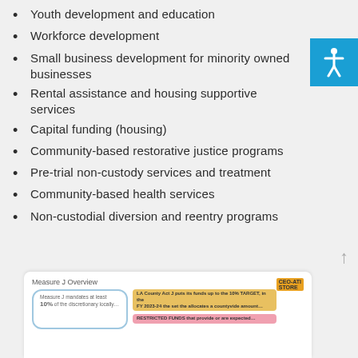Youth development and education
Workforce development
Small business development for minority owned businesses
Rental assistance and housing supportive services
Capital funding (housing)
Community-based restorative justice programs
Pre-trial non-custody services and treatment
Community-based health services
Non-custodial diversion and reentry programs
[Figure (screenshot): Partial view of a 'Measure J Overview' infographic panel showing a bubble diagram and text about Measure J mandates and restricted funds.]